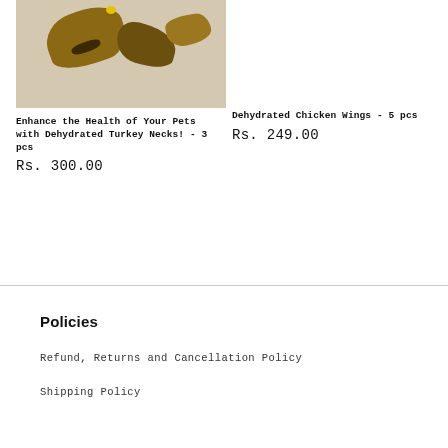[Figure (photo): Photo of dehydrated turkey necks on a light background]
Enhance the Health of Your Pets with Dehydrated Turkey Necks! - 3 pcs
Rs. 300.00
Dehydrated Chicken Wings - 5 pcs
Rs. 249.00
Policies
Refund, Returns and Cancellation Policy
Shipping Policy